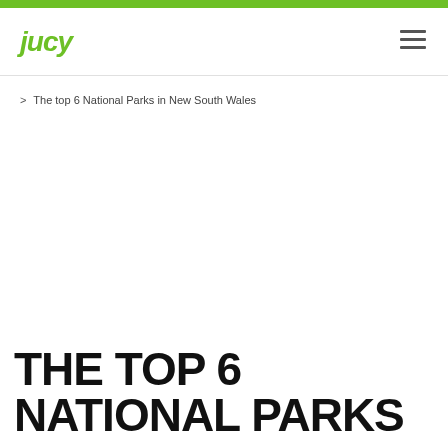jucy
> The top 6 National Parks in New South Wales
THE TOP 6 NATIONAL PARKS